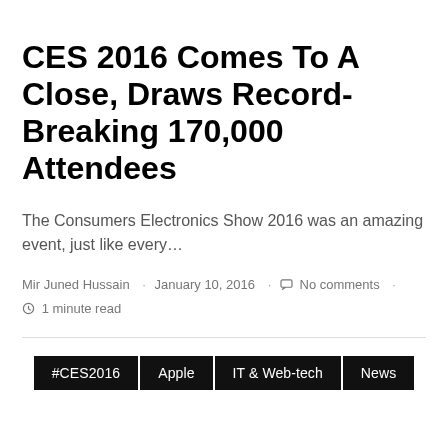CES 2016 Comes To A Close, Draws Record-Breaking 170,000 Attendees
The Consumers Electronics Show 2016 was an amazing event, just like every…
Mir Juned Hussain · January 10, 2016 · No comments · 1 minute read
#CES2016
Apple
IT & Web-tech
News